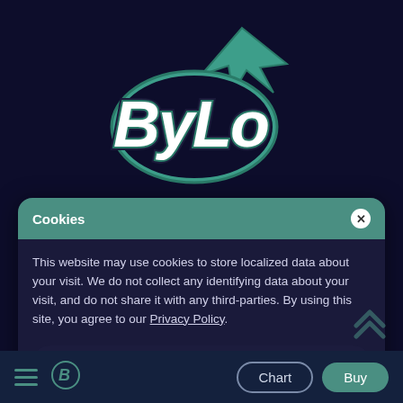[Figure (logo): ByLo brand logo with stylized graffiti-style lettering 'ByLo' in white with teal/green outline and black shadow, with an upward arrow/rocket graphic element on dark navy background]
Cookies
This website may use cookies to store localized data about your visit. We do not collect any identifying data about your visit, and do not share it with any third-parties. By using this site, you agree to our Privacy Policy.
Accept All
[Figure (illustration): Teal double chevron/arrow pointing upward (scroll to top icon)]
[Figure (logo): ByLo small 'B' logo in teal on bottom navigation bar]
Chart
Buy